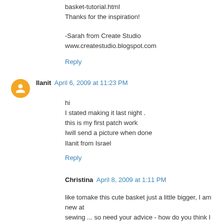basket-tutorial.html
Thanks for the inspiration!
-Sarah from Create Studio
www.createstudio.blogspot.com
Reply
Ilanit  April 6, 2009 at 11:23 PM
hi
I stated making it last night .
this is my first patch work
Iwill send a picture when done
Ilanit from Israel
Reply
Christina  April 8, 2009 at 1:11 PM
like tomake this cute basket just a little bigger, I am new at sewing ... so need your advice - how do you think I could do that? I would like it to be an easter basket for my son